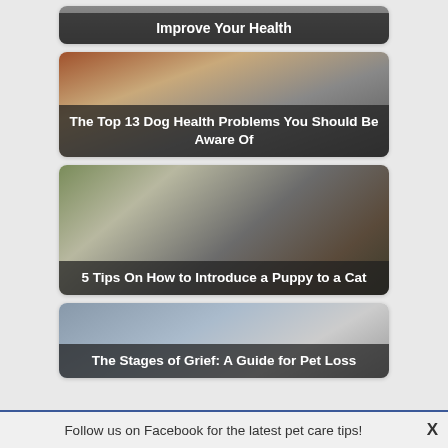[Figure (photo): Partially visible card with dark overlay showing 'Improve Your Health' title text in white on a semi-transparent dark background over a gray/dark image]
[Figure (photo): Card with a photo of a dog (brown/tan) lying down with toys, overlaid with white bold text 'The Top 13 Dog Health Problems You Should Be Aware Of' on a semi-transparent dark background]
[Figure (photo): Card with a photo of a cat and puppy/dog playing on grass, overlaid with white bold text '5 Tips On How to Introduce a Puppy to a Cat' on a semi-transparent dark background]
[Figure (photo): Partially visible card with a photo showing a person with a dark dog, overlaid with white bold text 'The Stages of Grief: A Guide for Pet Loss']
Follow us on Facebook for the latest pet care tips!   X